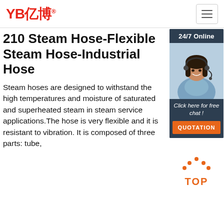YB亿博® [navigation menu icon]
210 Steam Hose-Flexible Steam Hose-Industrial Hose
Steam hoses are designed to withstand the high temperatures and moisture of saturated and superheated steam in steam service applications.The hose is very flexible and it is resistant to vibration. It is composed of three parts: tube,
[Figure (photo): Customer service representative - woman wearing headset smiling, with '24/7 Online' banner at top, 'Click here for free chat!' text, and orange QUOTATION button at bottom, all within a dark blue widget panel]
[Figure (other): Orange 'TOP' button with upward-pointing dotted arrow icon above the text]